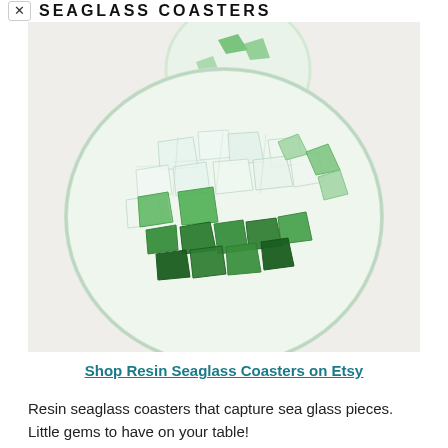SEAGLASS COASTERS
[Figure (photo): Close-up photo of a round clear resin coaster containing pieces of sea glass in various shades of green — light green, medium green, and dark green — embedded in clear resin, with a second coaster partially visible at top.]
Shop Resin Seaglass Coasters on Etsy
Resin seaglass coasters that capture sea glass pieces. Little gems to have on your table!